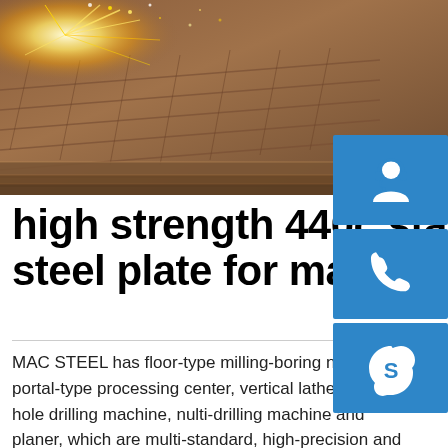[Figure (photo): Close-up photo of steel/metal plate being laser cut with sparks flying, showing a textured hatched surface pattern]
high strength 440c stainless steel plate for making knife
MAC STEEL has floor-type milling-boring nachine, portal-type processing center, vertical lathe, deep-hole drilling machine, nulti-drilling machine and planer, which are multi-standard, high-precision and multi-function. MAC STEEL has a wealth of machining experience and cases, such as the processing of tube sheets, food